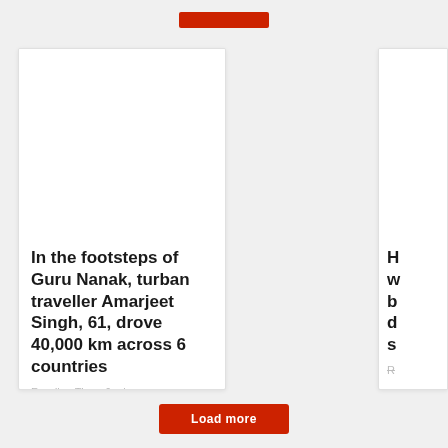[Figure (other): Article card image placeholder (white/blank)]
In the footsteps of Guru Nanak, turban traveller Amarjeet Singh, 61, drove 40,000 km across 6 countries
Reading Time: 6 min
[Figure (other): Partially visible second article card on the right edge]